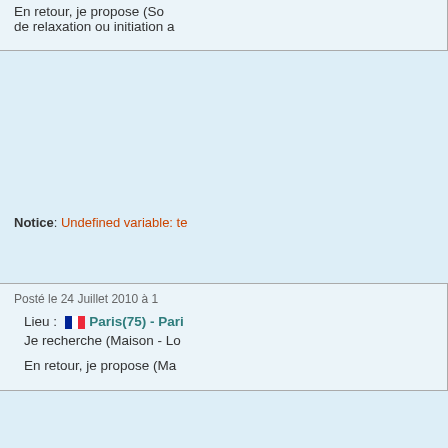En retour, je propose (So... de relaxation ou initiation a...
Notice: Undefined variable: te...
Posté le 24 Juillet 2010 à 1...
Lieu : Paris(75) - Pari... Je recherche (Maison - Lo... En retour, je propose (Ma...
Notice: Undefined variable: re...
Notice: Undefined variable: te...
Posté le 23 Juillet 2010 à 1...
Lieu : Nord(59) - Pon... Je recherche (Maison - Lo...